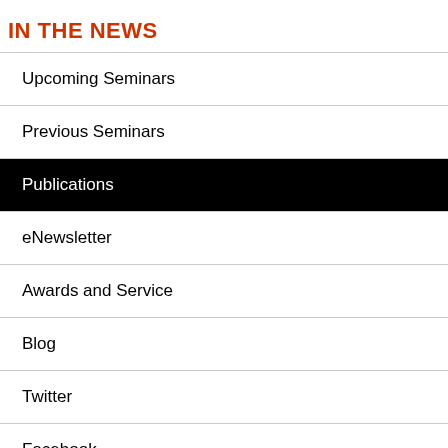IN THE NEWS
Upcoming Seminars
Previous Seminars
Publications
eNewsletter
Awards and Service
Blog
Twitter
Facebook